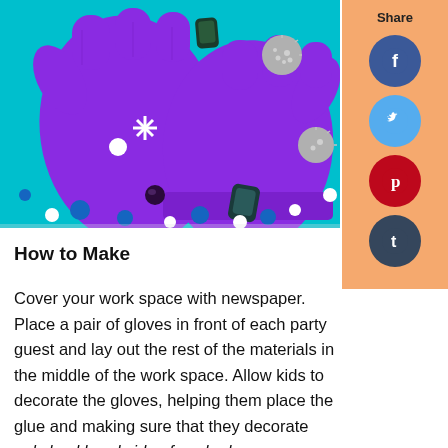[Figure (photo): Purple knit gloves laid flat on a teal/turquoise background, decorated with pompoms, snowflake embellishments, gems, and other craft materials scattered around them.]
How to Make
Cover your work space with newspaper. Place a pair of gloves in front of each party guest and lay out the rest of the materials in the middle of the work space. Allow kids to decorate the gloves, helping them place the glue and making sure that they decorate only backhand side of each glove. Depending on your party size, this may require